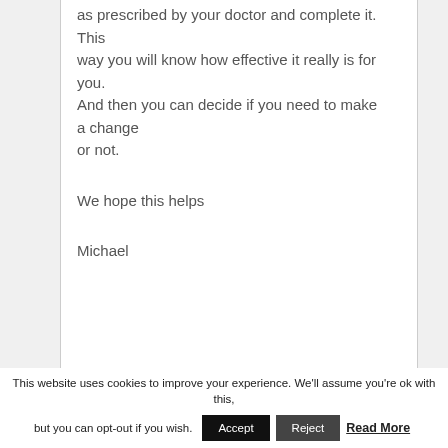as prescribed by your doctor and complete it. This way you will know how effective it really is for you.
And then you can decide if you need to make a change
or not.

We hope this helps

Michael
This website uses cookies to improve your experience. We'll assume you're ok with this, but you can opt-out if you wish. Accept Reject Read More